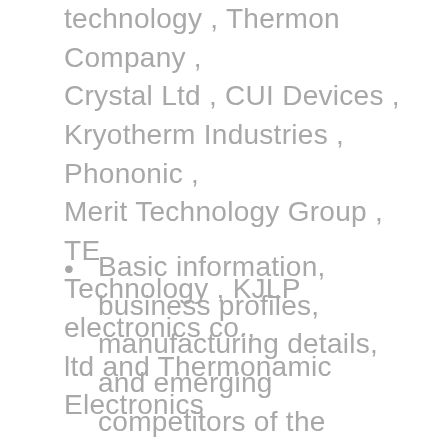technology , Thermon Company , Crystal Ltd , CUI Devices , Kryotherm Industries , Phononic , Merit Technology Group , TE Technology , KJLP electronics co., ltd and Thermonamic Electronics
Basic information, business profiles, manufacturing details, and emerging competitors of the major players are documented.